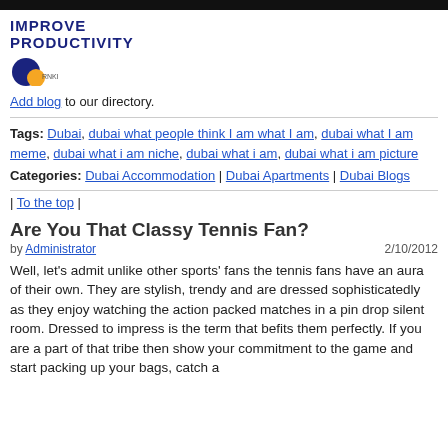[Figure (other): Black header bar at top of page]
[Figure (logo): Improve Productivity logo with blue text and circular icon]
Add blog to our directory.
Tags: Dubai, dubai what people think I am what I am, dubai what I am meme, dubai what i am niche, dubai what i am, dubai what i am picture
Categories: Dubai Accommodation | Dubai Apartments | Dubai Blogs
| To the top |
Are You That Classy Tennis Fan?
by Administrator   2/10/2012
Well, let's admit unlike other sports' fans the tennis fans have an aura of their own. They are stylish, trendy and are dressed sophisticatedly as they enjoy watching the action packed matches in a pin drop silent room. Dressed to impress is the term that befits them perfectly. If you are a part of that tribe then show your commitment to the game and start packing up your bags, catch a